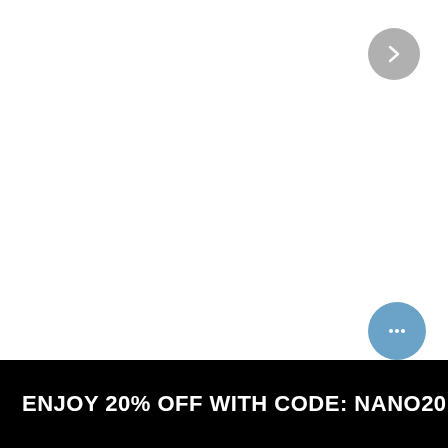[Figure (other): Navigation arrow button — circular grey button with a right-pointing chevron, positioned in the top-right area of the page]
[Figure (other): Chat bubble button — circular blue-grey button with three dots (ellipsis) icon, positioned in the lower-right area above the promo bar]
ENJOY 20% OFF WITH CODE: NANO20